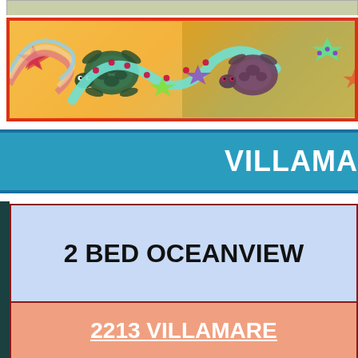[Figure (illustration): Colorful decorative banner with sea turtles, starfish, and swirling patterns on a warm background, framed with a red-orange border.]
VILLAMA
2 BED OCEANVIEW
2213 VILLAMARE